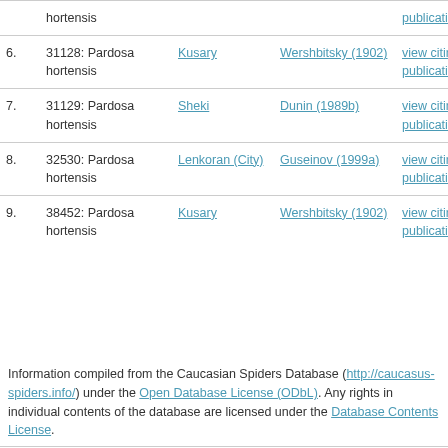| # | Record | Location | Author | Action |
| --- | --- | --- | --- | --- |
|  | hortensis |  |  | publication |
| 6. | 31128: Pardosa hortensis | Kusary | Wershbitsky (1902) | view citing publication |
| 7. | 31129: Pardosa hortensis | Sheki | Dunin (1989b) | view citing publication |
| 8. | 32530: Pardosa hortensis | Lenkoran (City) | Guseinov (1999a) | view citing publication |
| 9. | 38452: Pardosa hortensis | Kusary | Wershbitsky (1902) | view citing publication |
Information compiled from the Caucasian Spiders Database (http://caucasus-spiders.info/) under the Open Database License (ODbL). Any rights in individual contents of the database are licensed under the Database Contents License.